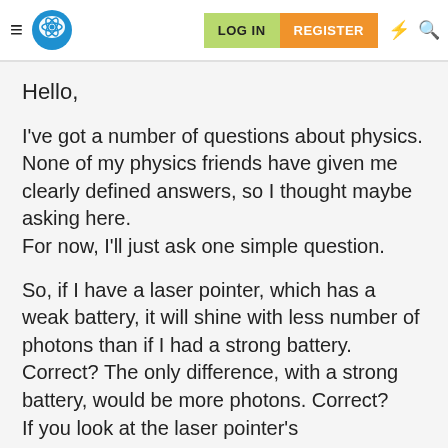≡ [logo] LOG IN  REGISTER  ⚡ 🔍
Hello,
I've got a number of questions about physics. None of my physics friends have given me clearly defined answers, so I thought maybe asking here.
For now, I'll just ask one simple question.
So, if I have a laser pointer, which has a weak battery, it will shine with less number of photons than if I had a strong battery. Correct? The only difference, with a strong battery, would be more photons. Correct?
If you look at the laser pointer's